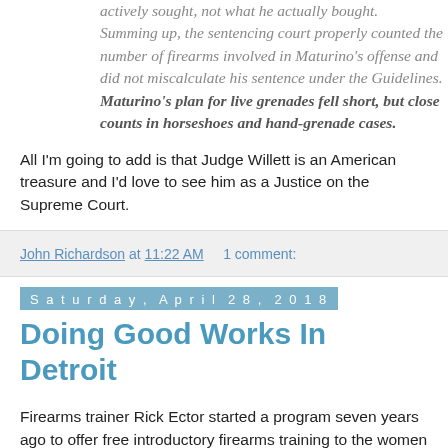actively sought, not what he actually bought. Summing up, the sentencing court properly counted the number of firearms involved in Maturino's offense and did not miscalculate his sentence under the Guidelines. Maturino's plan for live grenades fell short, but close counts in horseshoes and hand-grenade cases.
All I'm going to add is that Judge Willett is an American treasure and I'd love to see him as a Justice on the Supreme Court.
John Richardson at 11:22 AM    1 comment:
Saturday, April 28, 2018
Doing Good Works In Detroit
Firearms trainer Rick Ector started a program seven years ago to offer free introductory firearms training to the women of Detroit. Legally Armed in Detroit has now grown from 50